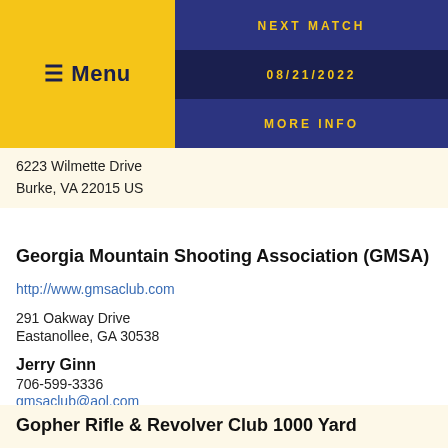≡ Menu | NEXT MATCH | 08/21/2022 | MORE INFO
6223 Wilmette Drive
Burke, VA 22015 US
Georgia Mountain Shooting Association (GMSA)
http://www.gmsaclub.com
291 Oakway Drive
Eastanollee, GA 30538
Jerry Ginn
706-599-3336
gmsaclub@aol.com
PO Box 188
Eastanollee, GA 30538 US
Gopher Rifle & Revolver Club 1000 Yard